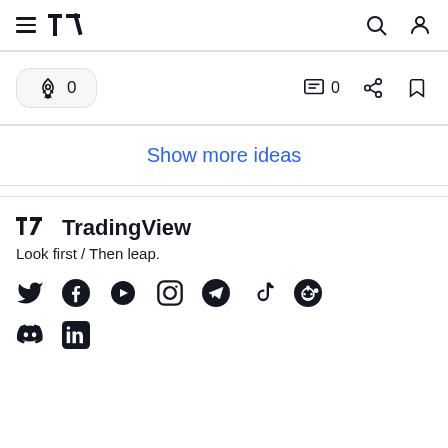TradingView navigation header with menu, logo, search and user icons
[Figure (screenshot): Card action bar with boost button showing 0, comment icon showing 0, share icon, and bookmark icon]
Show more ideas
[Figure (logo): TradingView logo with TV icon]
Look first / Then leap.
[Figure (infographic): Social media icons: Twitter, Facebook, YouTube, Instagram, Telegram, TikTok, Reddit, Discord, LinkedIn]